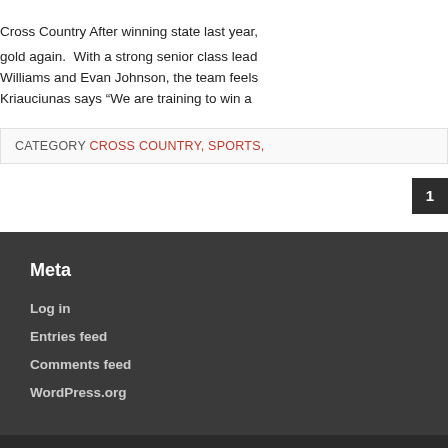Cross Country After winning state last year, gold again. With a strong senior class leading Williams and Evan Johnson, the team feels Kriauciunas says “We are training to win a…
CATEGORY CROSS COUNTRY, SPORTS,
1
Meta
Log in
Entries feed
Comments feed
WordPress.org
Copyright © 2022 · All Rights Reserved · The Scarlette: Student Newspaper of West Laf…